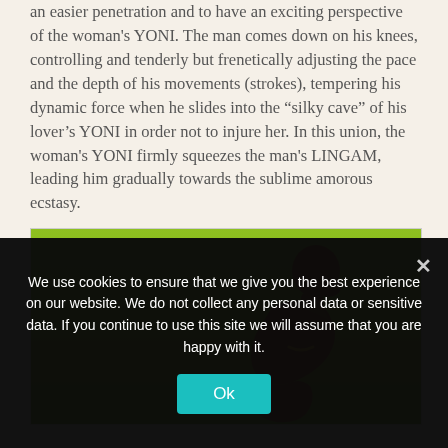an easier penetration and to have an exciting perspective of the woman's YONI. The man comes down on his knees, controlling and tenderly but frenetically adjusting the pace and the depth of his movements (strokes), tempering his dynamic force when he slides into the “silky cave” of his lover’s YONI in order not to injure her. In this union, the woman's YONI firmly squeezes the man's LINGAM, leading him gradually towards the sublime amorous ecstasy.
[Figure (illustration): Illustration on green background showing a brown silhouette of a person kneeling or crouching, viewed from the side.]
We use cookies to ensure that we give you the best experience on our website. We do not collect any personal data or sensitive data. If you continue to use this site we will assume that you are happy with it.